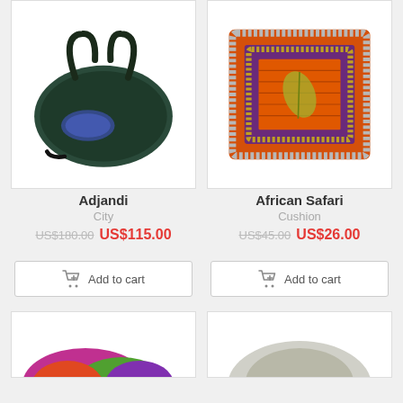[Figure (photo): Dark green textured handbag with blue sequin detail, top-handle style]
Adjandi
City
US$180.00 US$115.00
Add to cart
[Figure (photo): Square decorative cushion with orange African fabric center, surrounded by concentric borders of colorful beads and sequins]
African Safari
Cushion
US$45.00 US$26.00
Add to cart
[Figure (photo): Partial view of colorful product at bottom left]
[Figure (photo): Partial view of product at bottom right]